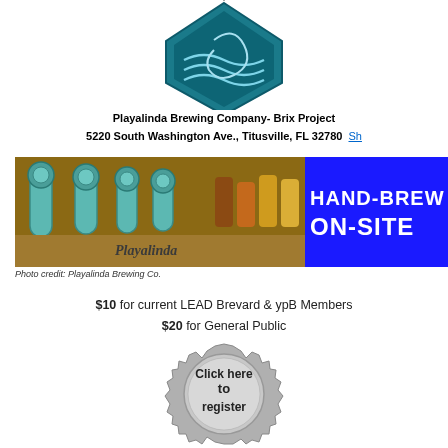[Figure (logo): Playalinda Brewing Co. logo with wave design in a diamond/shield shape, teal/blue colors]
Playalinda Brewing Company- Brix Project
5220 South Washington Ave., Titusville, FL 32780  Sh...
[Figure (photo): Photo of Playalinda beer taps on left and beer flight glasses on right, with blue illuminated sign reading HAND-BREW ON-SITE]
Photo credit: Playalinda Brewing Co.
$10 for current LEAD Brevard & ypB Members
$20 for General Public
[Figure (illustration): Bottle cap / badge shaped silver button with text: Click here to register]